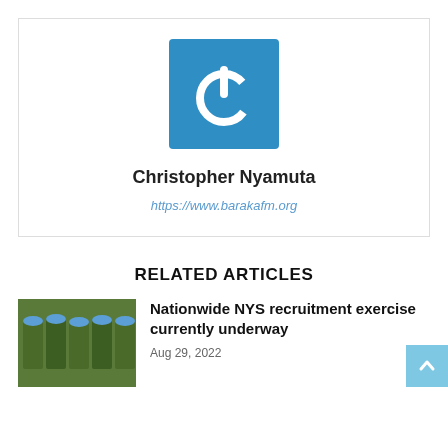[Figure (logo): Blue square logo with white power button icon]
Christopher Nyamuta
https://www.barakafm.org
RELATED ARTICLES
[Figure (photo): Photo of soldiers in green uniforms and blue berets]
Nationwide NYS recruitment exercise currently underway
Aug 29, 2022